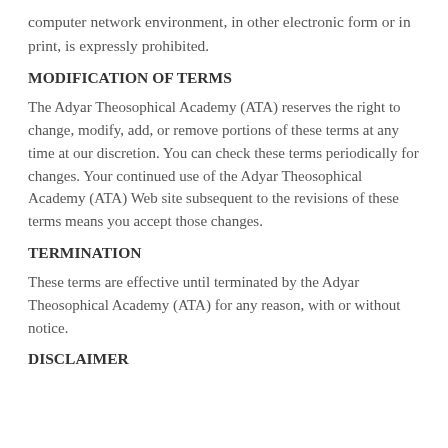computer network environment, in other electronic form or in print, is expressly prohibited.
MODIFICATION OF TERMS
The Adyar Theosophical Academy (ATA) reserves the right to change, modify, add, or remove portions of these terms at any time at our discretion. You can check these terms periodically for changes. Your continued use of the Adyar Theosophical Academy (ATA) Web site subsequent to the revisions of these terms means you accept those changes.
TERMINATION
These terms are effective until terminated by the Adyar Theosophical Academy (ATA) for any reason, with or without notice.
DISCLAIMER